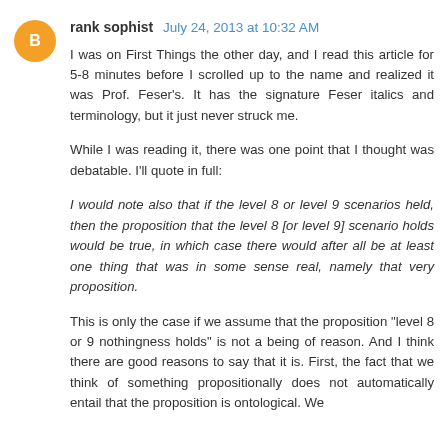rank sophist   July 24, 2013 at 10:32 AM
I was on First Things the other day, and I read this article for 5-8 minutes before I scrolled up to the name and realized it was Prof. Feser's. It has the signature Feser italics and terminology, but it just never struck me.
While I was reading it, there was one point that I thought was debatable. I'll quote in full:
I would note also that if the level 8 or level 9 scenarios held, then the proposition that the level 8 [or level 9] scenario holds would be true, in which case there would after all be at least one thing that was in some sense real, namely that very proposition.
This is only the case if we assume that the proposition "level 8 or 9 nothingness holds" is not a being of reason. And I think there are good reasons to say that it is. First, the fact that we think of something propositionally does not automatically entail that the proposition is ontological. We